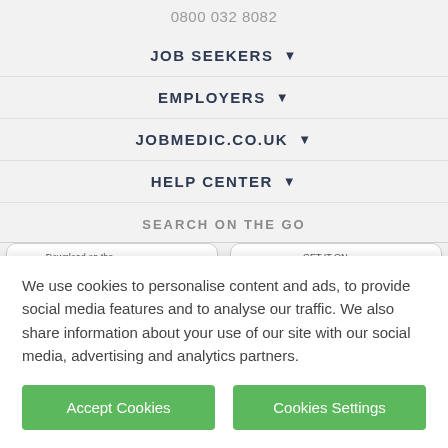0800 032 8082
JOB SEEKERS ▾
EMPLOYERS ▾
JOBMEDIC.CO.UK ▾
HELP CENTER ▾
SEARCH ON THE GO
[Figure (screenshot): App store download buttons: Download on the App Store and Get it on Google Play]
We use cookies to personalise content and ads, to provide social media features and to analyse our traffic. We also share information about your use of our site with our social media, advertising and analytics partners.
Accept Cookies
Cookies Settings